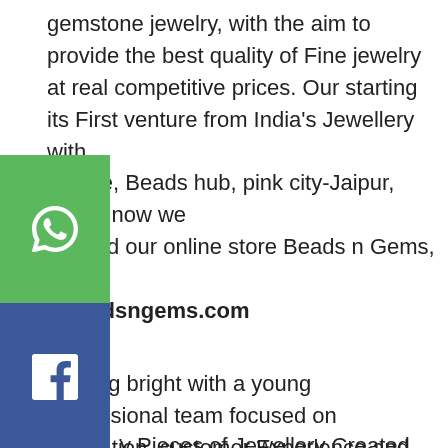gemstone jewelry, with the aim to provide the best quality of Fine jewelry at real competitive prices. Our starting its First venture from India's Jewellery with nstone, Beads hub, pink city-Jaipur, today, now we oduced our online store Beads n Gems, visit v.beadsngems.com
[Figure (infographic): Social media share buttons bar on the left side: WhatsApp (green), Facebook (dark blue), Instagram (gradient orange-pink-purple), Twitter (light blue), LinkedIn (blue)]
y Pieces of Jewellery Created by a very Adroit n, the collections area unit each internationally wn and nationwide honoured. With a mix of world n, native attainment, attention to convoluted With ailing of every essence of jewel incorporated in t is a Jaipur based manufacturing company now king for brands and private labels and corporate ng from all over the world.
Shining bright with a young Professional team focused on innovation, customer Experience and transparency, GR Silver Designs International Group addresses the